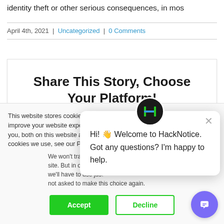identity theft or other serious consequences, in mos
April 4th, 2021 | Uncategorized | 0 Comments
Share This Story, Choose Your Platform!
This website stores cookies on your computer. These are used to improve your website experience you, both on this website and through cookies we use, see our Privacy P
We won't track your site. But in order to we'll have to use jus not asked to make this choice again.
Accept
Decline
Hi! 👋 Welcome to HackNotice. Got any questions? I'm happy to help.